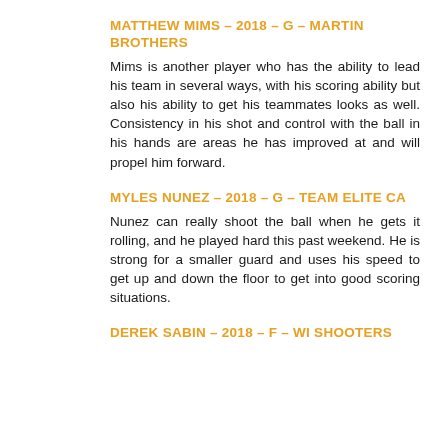MATTHEW MIMS – 2018 – G – MARTIN BROTHERS
Mims is another player who has the ability to lead his team in several ways, with his scoring ability but also his ability to get his teammates looks as well. Consistency in his shot and control with the ball in his hands are areas he has improved at and will propel him forward.
MYLES NUNEZ – 2018 – G – TEAM ELITE CA
Nunez can really shoot the ball when he gets it rolling, and he played hard this past weekend. He is strong for a smaller guard and uses his speed to get up and down the floor to get into good scoring situations.
DEREK SABIN – 2018 – F – WI SHOOTERS